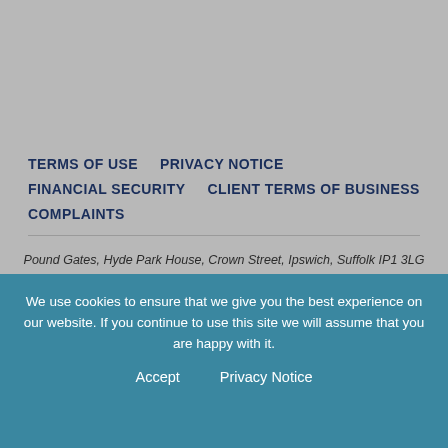TERMS OF USE   PRIVACY NOTICE   FINANCIAL SECURITY   CLIENT TERMS OF BUSINESS   COMPLAINTS
Pound Gates, Hyde Park House, Crown Street, Ipswich, Suffolk IP1 3LG
©2022 Pound Gates | Pound Gates is the trading name of Pound Gates & Company Ltd. | Pound Gates & Company Ltd is authorised and regulated by the Financial Conduct Authority. Company No: 3097866 | VAT Registration No: GB 521 1184 93 | FCA Registration No: 304300 | Registered in England and Wales.
We use cookies to ensure that we give you the best experience on our website. If you continue to use this site we will assume that you are happy with it.
Accept   Privacy Notice